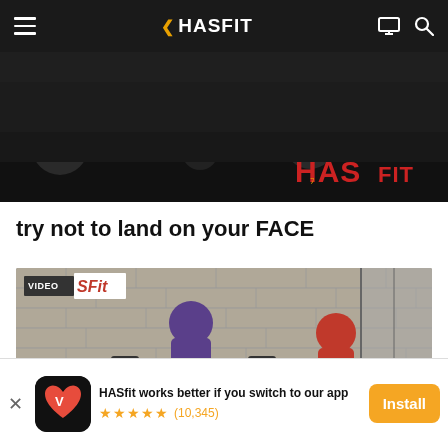HASfit navigation bar with hamburger menu, logo, monitor icon, and search icon
[Figure (screenshot): Gym interior dark background with HASfit logo in red/gold text in bottom right corner]
try not to land on your FACE
[Figure (photo): VIDEO SFit badge overlay on workout video thumbnail showing a woman in purple top doing bent-over dumbbell rows and a man in red doing barbell rows against a brick wall background]
[Figure (screenshot): App install banner: HASfit app icon, text 'HASfit works better if you switch to our app', 5 star rating (10,345 reviews), Install button]